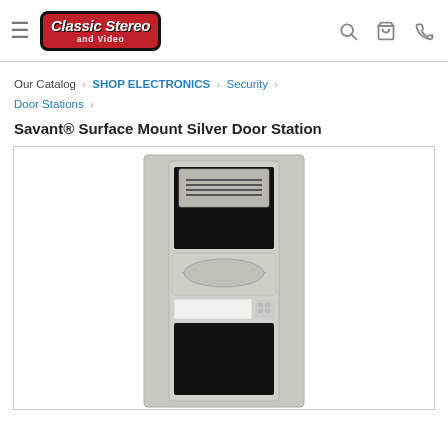Classic Stereo and Video — navigation header with hamburger menu, logo, search, cart, and phone icons
Our Catalog › SHOP ELECTRONICS › Security › Door Stations ›
Savant® Surface Mount Silver Door Station
[Figure (photo): Product photo of Savant Surface Mount Silver Door Station — a tall vertical panel in brushed silver/aluminum with a speaker grille at top, black panel section, a curved chrome/silver door handle in the middle, a white name tag label with small keypad, and a black rectangular lower panel section]